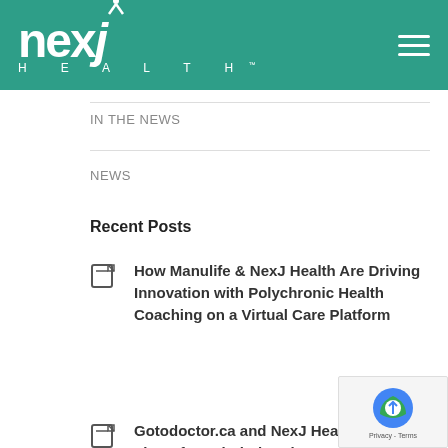[Figure (logo): NexJ Health logo in white on teal background with hamburger menu icon]
IN THE NEWS
NEWS
Recent Posts
How Manulife & NexJ Health Are Driving Innovation with Polychronic Health Coaching on a Virtual Care Platform
Gotodoctor.ca and NexJ Health Bring the First of Its Kind Virtual